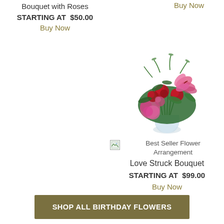Bouquet with Roses
STARTING AT  $50.00
Buy Now
Buy Now
[Figure (photo): A large flower arrangement with red roses, pink lilies, and pink hydrangeas in a clear glass vase]
[Figure (photo): Small broken image placeholder icon]
Best Seller Flower Arrangement
Love Struck Bouquet
STARTING AT  $99.00
Buy Now
SHOP ALL BIRTHDAY FLOWERS